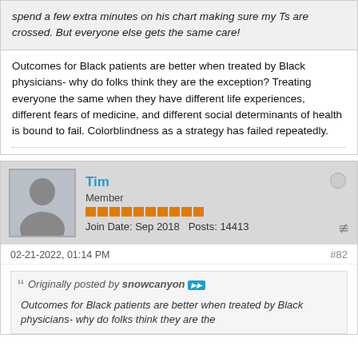spend a few extra minutes on his chart making sure my Ts are crossed. But everyone else gets the same care!
Outcomes for Black patients are better when treated by Black physicians- why do folks think they are the exception? Treating everyone the same when they have different life experiences, different fears of medicine, and different social determinants of health is bound to fail. Colorblindness as a strategy has failed repeatedly.
Tim
Member
Join Date: Sep 2018  Posts: 14413
02-21-2022, 01:14 PM
#82
Originally posted by snowcanyon
Outcomes for Black patients are better when treated by Black physicians- why do folks think they are the